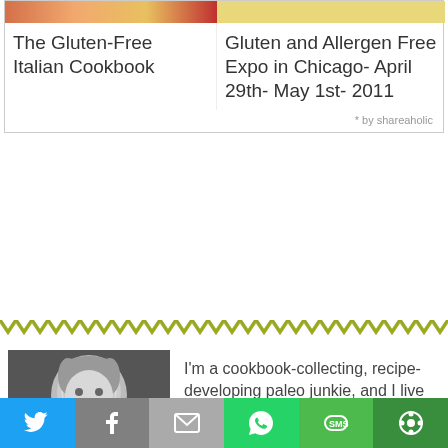The Gluten-Free Italian Cookbook
Gluten and Allergen Free Expo in Chicago- April 29th- May 1st- 2011
* by shareaholic
[Figure (illustration): Zigzag/chevron pattern divider bar in olive/yellow-green color]
[Figure (photo): Black and white photo of a smiling toddler child]
I'm a cookbook-collecting, recipe-developing paleo junkie, and I live in the kitchen. I'm hooked on farmers markets, traveling...